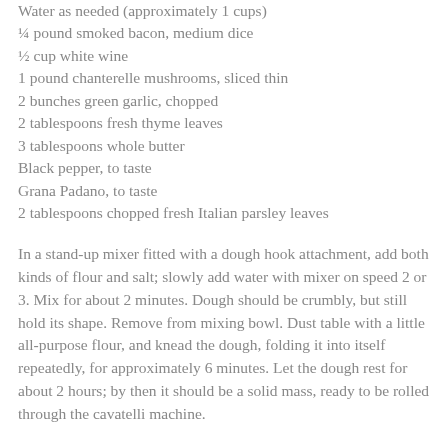Water as needed (approximately 1 cups)
¼ pound smoked bacon, medium dice
½ cup white wine
1 pound chanterelle mushrooms, sliced thin
2 bunches green garlic, chopped
2 tablespoons fresh thyme leaves
3 tablespoons whole butter
Black pepper, to taste
Grana Padano, to taste
2 tablespoons chopped fresh Italian parsley leaves
In a stand-up mixer fitted with a dough hook attachment, add both kinds of flour and salt; slowly add water with mixer on speed 2 or 3. Mix for about 2 minutes. Dough should be crumbly, but still hold its shape. Remove from mixing bowl. Dust table with a little all-purpose flour, and knead the dough, folding it into itself repeatedly, for approximately 6 minutes. Let the dough rest for about 2 hours; by then it should be a solid mass, ready to be rolled through the cavatelli machine.
Roll the dough out with a rolling pin, to about half an inch in thickness. Then cut into strips, half an inch wide. Start rolling